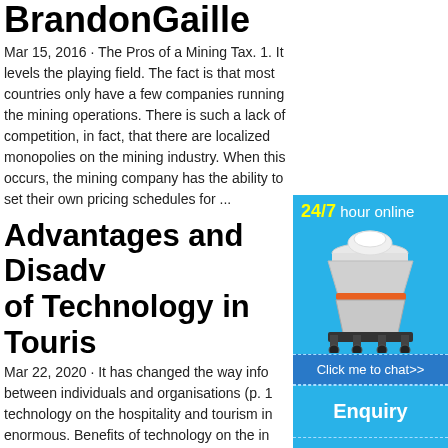BrandonGaille
Mar 15, 2016 · The Pros of a Mining Tax. 1. It levels the playing field. The fact is that most countries only have a few companies running the mining operations. There is such a lack of competition, in fact, that there are localized monopolies on the mining industry. When this occurs, the mining company has the ability to set their own pricing schedules for ...
Advantages and Disadvantages of Technology in Tourism ...
Mar 22, 2020 · It has changed the way information is shared between individuals and organisations (p. 1). The impact of technology on the hospitality and tourism industry is enormous. Benefits of technology on the industry and effects of IT are manifested almost in every aspect ... internet has become an important part of pe...
[Figure (infographic): Blue advertisement panel: 24/7 hour online, image of mining/crushing machine, Click me to chat>> button, Enquiry section, limingjlmofen text]
What is Bitcoin Mining and Does it Work? (2021 U...